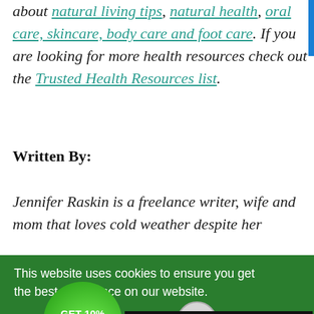about natural living tips, natural health, oral care, skincare, body care and foot care. If you are looking for more health resources check out the Trusted Health Resources list.
Written By:
Jennifer Raskin is a freelance writer, wife and mom that loves cold weather despite her [...]ching [...] ng. [...] nings [...] re as
[Figure (screenshot): Cookie consent banner overlay in green with white text 'This website uses cookies to ensure you get the best experience on our website.' and a black 'Got it!' button. A circular green 'GET 10% OFF' promo bubble overlaps the bottom-left. A circular scroll-up arrow button is visible. A partial 'Back' button is visible.]